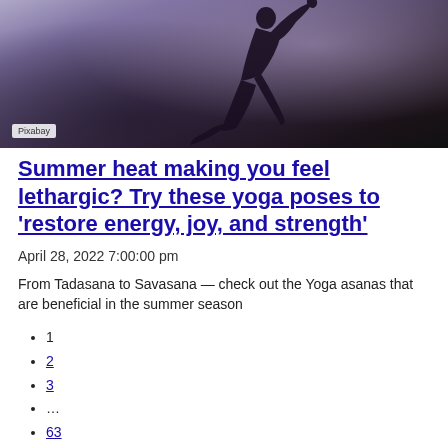[Figure (photo): Person doing a yoga pose silhouetted against a purple/pink sunset sky, with Pixabay watermark in bottom left]
Summer heat making you feel lethargic? Try these yoga poses to 'restore energy, joy, and strength'
April 28, 2022 7:00:00 pm
From Tadasana to Savasana — check out the Yoga asanas that are beneficial in the summer season
1
2
3
…
63